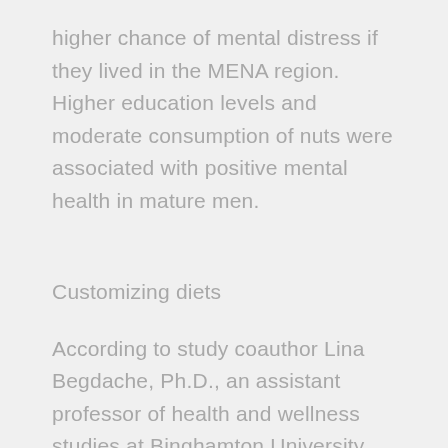higher chance of mental distress if they lived in the MENA region. Higher education levels and moderate consumption of nuts were associated with positive mental health in mature men.
Customizing diets
According to study coauthor Lina Begdache, Ph.D., an assistant professor of health and wellness studies at Binghamton University, scientists need to consider differences in brain maturity between young and mature adults.